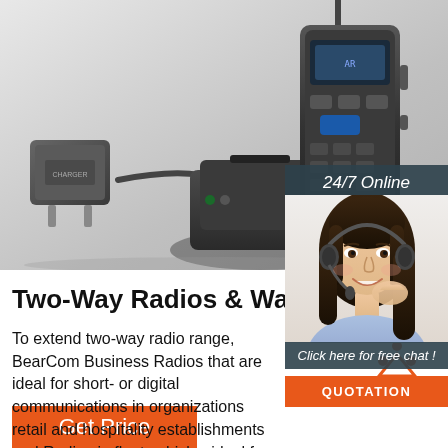[Figure (photo): Two-way radio device with charging cradle and power adapter on white/grey background]
24/7 Online
[Figure (photo): Customer service agent woman wearing headset, smiling]
Click here for free chat !
QUOTATION
Two-Way Radios & Walkies Talk
To extend two-way radio range, BearCom Business Radios that are ideal for short- or digital communications in organizations retail and hospitality establishments and Radios in fleet vehicles ideal for school bus management and connectivity.
[Figure (logo): TOP button with orange dots arranged in triangle above the word TOP in orange]
Get Price